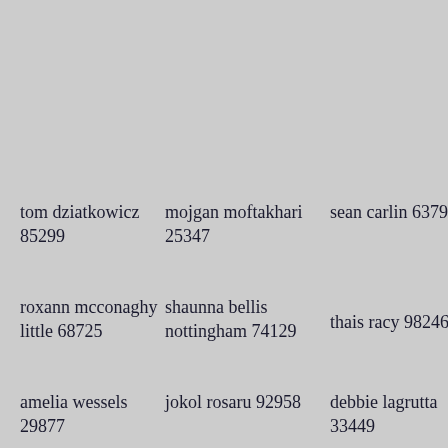tom dziatkowicz 85299
mojgan moftakhari 25347
sean carlin 63794
roxann mcconaghy little 68725
shaunna bellis nottingham 74129
thais racy 98246
amelia wessels 29877
jokol rosaru 92958
debbie lagrutta 33449